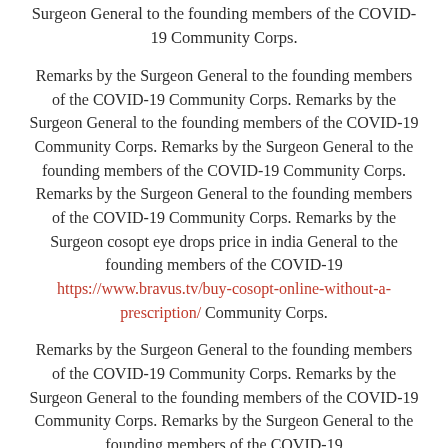Surgeon General to the founding members of the COVID-19 Community Corps.
Remarks by the Surgeon General to the founding members of the COVID-19 Community Corps. Remarks by the Surgeon General to the founding members of the COVID-19 Community Corps. Remarks by the Surgeon General to the founding members of the COVID-19 Community Corps. Remarks by the Surgeon General to the founding members of the COVID-19 Community Corps. Remarks by the Surgeon cosopt eye drops price in india General to the founding members of the COVID-19 https://www.bravus.tv/buy-cosopt-online-without-a-prescription/ Community Corps.
Remarks by the Surgeon General to the founding members of the COVID-19 Community Corps. Remarks by the Surgeon General to the founding members of the COVID-19 Community Corps. Remarks by the Surgeon General to the founding members of the COVID-19